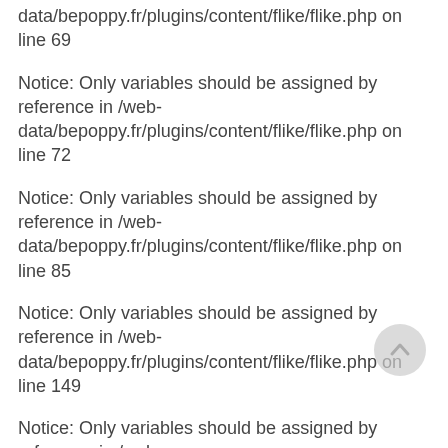reference in /web-data/bepoppy.fr/plugins/content/flike/flike.php on line 69
Notice: Only variables should be assigned by reference in /web-data/bepoppy.fr/plugins/content/flike/flike.php on line 72
Notice: Only variables should be assigned by reference in /web-data/bepoppy.fr/plugins/content/flike/flike.php on line 85
Notice: Only variables should be assigned by reference in /web-data/bepoppy.fr/plugins/content/flike/flike.php on line 149
Notice: Only variables should be assigned by reference in /web-